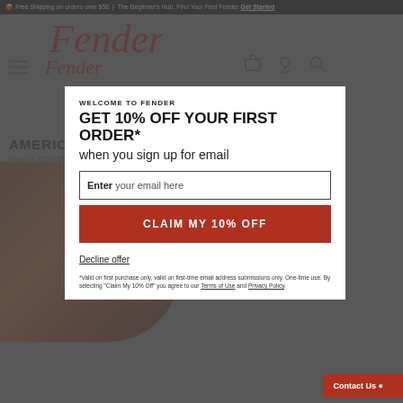Free Shipping on orders over $50 | The Beginner's Hub: Find Your First Fender Get Started
[Figure (logo): Fender script logo in red italic]
AMERICAN ULTRA JAZZMASTER®
Model #: 0118050712
[Figure (photo): Sunburst Fender Jazzmaster electric guitar body]
WELCOME TO FENDER
GET 10% OFF YOUR FIRST ORDER*
when you sign up for email
Enter your email here
CLAIM MY 10% OFF
Decline offer
*Valid on first purchase only, valid on first-time email address submissions only. One-time use. By selecting "Claim My 10% Off" you agree to our Terms of Use and Privacy Policy.